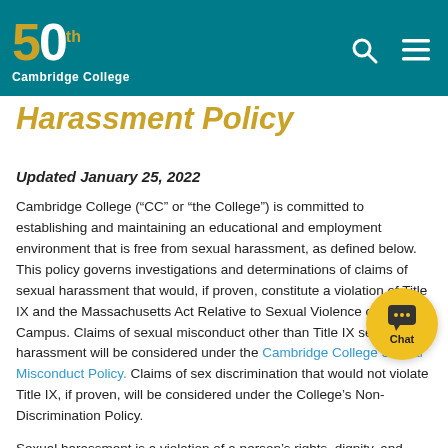[Figure (logo): Cambridge College 50th anniversary logo with teal header background, search icon and hamburger menu icon]
Harassment Policy
Updated January 25, 2022
Cambridge College (“CC” or “the College”) is committed to establishing and maintaining an educational and employment environment that is free from sexual harassment, as defined below. This policy governs investigations and determinations of claims of sexual harassment that would, if proven, constitute a violation of Title IX and the Massachusetts Act Relative to Sexual Violence on Campus. Claims of sexual misconduct other than Title IX sexual harassment will be considered under the Cambridge College Sexual Misconduct Policy. Claims of sex discrimination that would not violate Title IX, if proven, will be considered under the College’s Non-Discrimination Policy.
Sexual harassment is a violation of a person’s rights, dignity, and integrity, and is contrary to the mission and values of the College. Acts of sexual harassment are strictly prohibited and